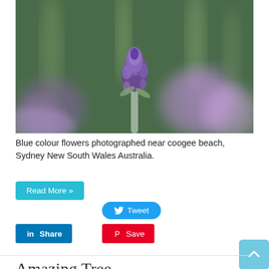[Figure (photo): Close-up macro photo of purple/blue lavender flowers with blurred background, green stems visible]
Blue colour flowers photographed near coogee beach, Sydney New South Wales Australia.
Read More »
Tweet
Share
Save
Amazing Tree